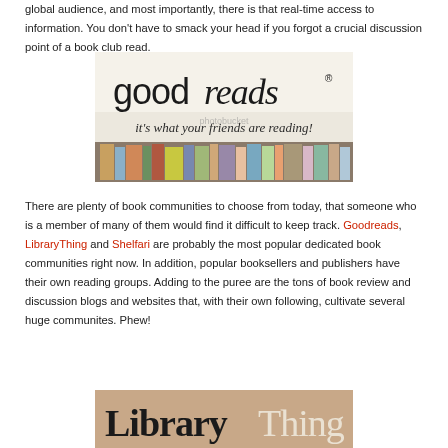global audience, and most importantly, there is that real-time access to information. You don't have to smack your head if you forgot a crucial discussion point of a book club read.
[Figure (photo): Goodreads banner image showing the Goodreads logo and tagline 'it's what your friends are reading!' above a row of colorful book spines]
There are plenty of book communities to choose from today, that someone who is a member of many of them would find it difficult to keep track. Goodreads, LibraryThing and Shelfari are probably the most popular dedicated book communities right now. In addition, popular booksellers and publishers have their own reading groups. Adding to the puree are the tons of book review and discussion blogs and websites that, with their own following, cultivate several huge communites. Phew!
[Figure (photo): LibraryThing logo banner with serif text on a tan/beige background]